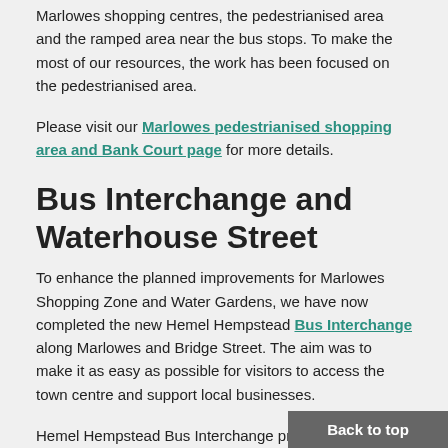Marlowes shopping centres, the pedestrianised area and the ramped area near the bus stops. To make the most of our resources, the work has been focused on the pedestrianised area.
Please visit our Marlowes pedestrianised shopping area and Bank Court page for more details.
Bus Interchange and Waterhouse Street
To enhance the planned improvements for Marlowes Shopping Zone and Water Gardens, we have now completed the new Hemel Hempstead Bus Interchange along Marlowes and Bridge Street. The aim was to make it as easy as possible for visitors to access the town centre and support local businesses.
Hemel Hempstead Bus Interchange provides visitors with
Back to top